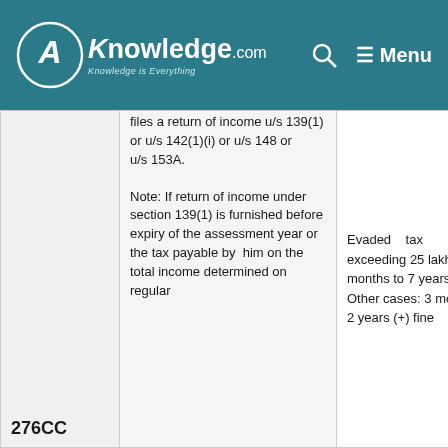CA Knowledge.com — Menu
| Section | Description | Penalty |
| --- | --- | --- |
|  | files a return of income u/s 139(1) or u/s 142(1)(i) or u/s 148 or u/s 153A.

Note: If return of income under section 139(1) is furnished before expiry of the assessment year or the tax payable by him on the total income determined on regular | Evaded tax exceeding 25 lakh: 6 months to 7 years (+) fine Other cases: 3 months to 2 years (+) fine |
| 276CC |  |  |